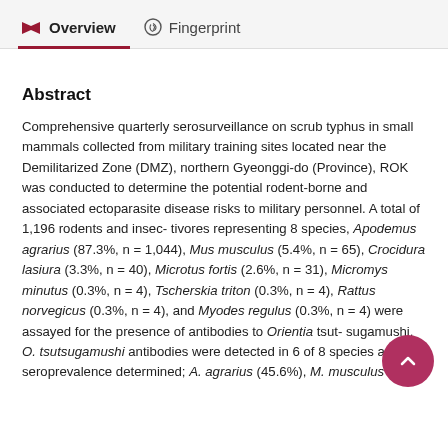Overview   Fingerprint
Abstract
Comprehensive quarterly serosurveillance on scrub typhus in small mammals collected from military training sites located near the Demilitarized Zone (DMZ), northern Gyeonggi-do (Province), ROK was conducted to determine the potential rodent-borne and associated ectoparasite disease risks to military personnel. A total of 1,196 rodents and insec- tivores representing 8 species, Apodemus agrarius (87.3%, n = 1,044), Mus musculus (5.4%, n = 65), Crocidura lasiura (3.3%, n = 40), Microtus fortis (2.6%, n = 31), Micromys minutus (0.3%, n = 4), Tscherskia triton (0.3%, n = 4), Rattus norvegicus (0.3%, n = 4), and Myodes regulus (0.3%, n = 4) were assayed for the presence of antibodies to Orientia tsut- sugamushi. O. tsutsugamushi antibodies were detected in 6 of 8 species and seroprevalence determined; A. agrarius (45.6%), M. musculus